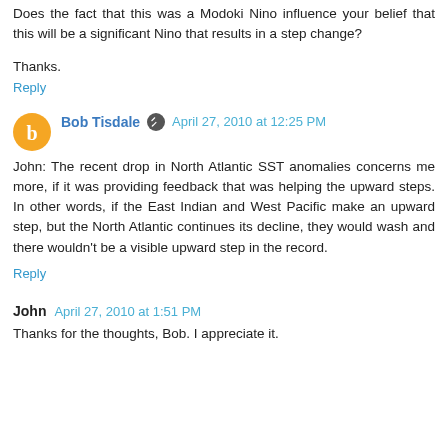Does the fact that this was a Modoki Nino influence your belief that this will be a significant Nino that results in a step change?
Thanks.
Reply
Bob Tisdale  April 27, 2010 at 12:25 PM
John: The recent drop in North Atlantic SST anomalies concerns me more, if it was providing feedback that was helping the upward steps. In other words, if the East Indian and West Pacific make an upward step, but the North Atlantic continues its decline, they would wash and there wouldn't be a visible upward step in the record.
Reply
John  April 27, 2010 at 1:51 PM
Thanks for the thoughts, Bob. I appreciate it.